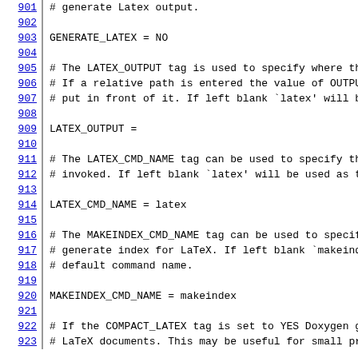901  # generate Latex output.
902
903  GENERATE_LATEX          = NO
904
905  # The LATEX_OUTPUT tag is used to specify where th
906  # If a relative path is entered the value of OUTPU
907  # put in front of it. If left blank `latex' will b
908
909  LATEX_OUTPUT            =
910
911  # The LATEX_CMD_NAME tag can be used to specify th
912  # invoked. If left blank `latex' will be used as t
913
914  LATEX_CMD_NAME          = latex
915
916  # The MAKEINDEX_CMD_NAME tag can be used to specif
917  # generate index for LaTeX. If left blank `makeind
918  # default command name.
919
920  MAKEINDEX_CMD_NAME      = makeindex
921
922  # If the COMPACT_LATEX tag is set to YES Doxygen g
923  # LaTeX documents. This may be useful for small pr